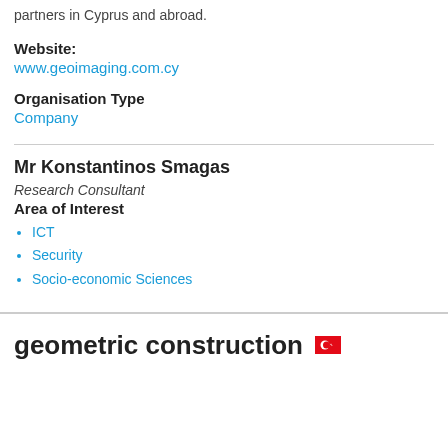partners in Cyprus and abroad.
Website:
www.geoimaging.com.cy
Organisation Type
Company
Mr Konstantinos Smagas
Research Consultant
Area of Interest
ICT
Security
Socio-economic Sciences
geometric construction 🇹🇷